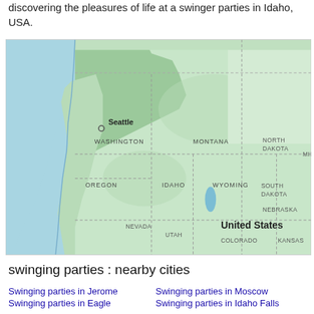discovering the pleasures of life at a swinger parties in Idaho, USA.
[Figure (map): Google Maps view showing northwestern United States including Washington, Oregon, Idaho, Montana, Wyoming, Nevada, Utah, Colorado, North Dakota, South Dakota, Nebraska, Kansas, Minnesota (partial). Seattle is labeled with a circle marker. 'United States' label shown in bold. State boundaries shown with dashed lines.]
swinging parties : nearby cities
Swinging parties in Jerome
Swinging parties in Moscow
Swinging parties in Eagle
Swinging parties in Idaho Falls